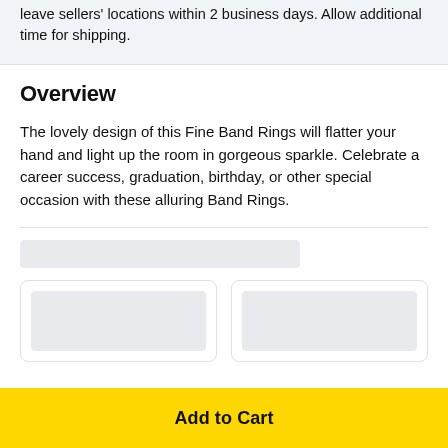leave sellers' locations within 2 business days. Allow additional time for shipping.
Overview
The lovely design of this Fine Band Rings will flatter your hand and light up the room in gorgeous sparkle. Celebrate a career success, graduation, birthday, or other special occasion with these alluring Band Rings.
[Figure (screenshot): Search bar placeholder and two product card placeholders with grey image areas]
Add to Cart